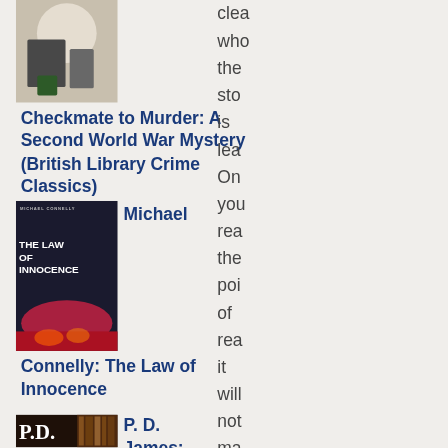[Figure (photo): Book cover for Checkmate to Murder: A Second World War Mystery (British Library Crime Classics) — architectural arch scene in muted tones]
Checkmate to Murder: A Second World War Mystery (British Library Crime Classics)
[Figure (photo): Book cover for Michael Connelly: The Law of Innocence — dark background with red/orange fire at bottom]
Michael
Connelly: The Law of Innocence
[Figure (photo): Book cover for P. D. James: — dark background with P.D. text and bookshelf imagery]
P. D. James:
clea
who
the
sto
is
lea
On
you
rea
the
poi
of
rea
it
will
not
ma
you
will
rea
on
as
by